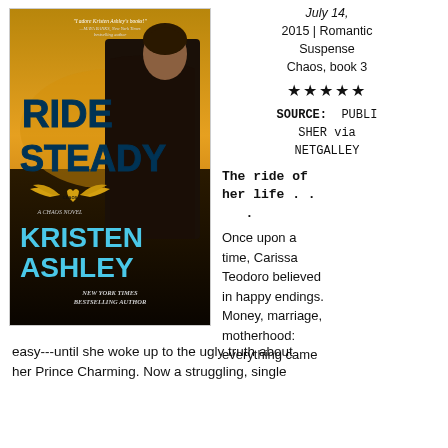[Figure (photo): Book cover of 'Ride Steady' by Kristen Ashley, a Chaos Novel. Features a man in a leather jacket with a motorcycle against a dramatic golden sky. Cover text includes 'Ride Steady', 'A Chaos Novel', 'Kristen Ashley', 'New York Times Bestselling Author', and a blurb from Maya Banks.]
July 14, 2015 | Romantic Suspense
Chaos, book 3
★★★★★
SOURCE: PUBLISHER via NETGALLEY
The ride of her life . . .
Once upon a time, Carissa Teodoro believed in happy endings. Money, marriage, motherhood: everything came easy---until she woke up to the ugly truth about her Prince Charming. Now a struggling, single